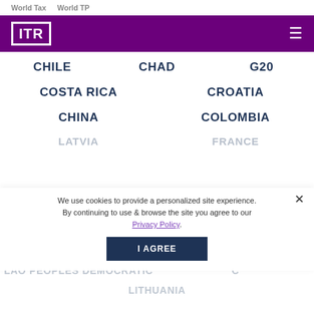World Tax   World TP
[Figure (logo): ITR logo in white on purple background with hamburger menu]
CHILE   CHAD   G20
COSTA RICA   CROATIA
CHINA   COLOMBIA
LATVIA   FRANCE
We use cookies to provide a personalized site experience. By continuing to use & browse the site you agree to our Privacy Policy.
LAO PEOPLES DEMOCRATIC REPUBLIC
LITHUANIA